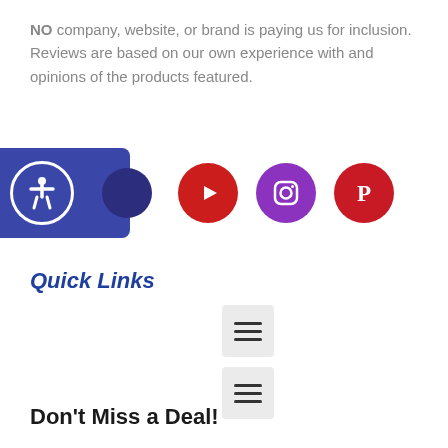NO company, website, or brand is paying us for inclusion. Reviews are based on our own experience with and opinions of the products featured.
[Figure (infographic): Social media icons row: accessibility badge (blue rectangle with person icon), YouTube (red circle with play button), Instagram (purple circle with camera icon), Pinterest (red circle with P icon)]
Quick Links
[Figure (infographic): Two hamburger menu icon boxes (grey rectangles with three horizontal lines each)]
Don't Miss a Deal!